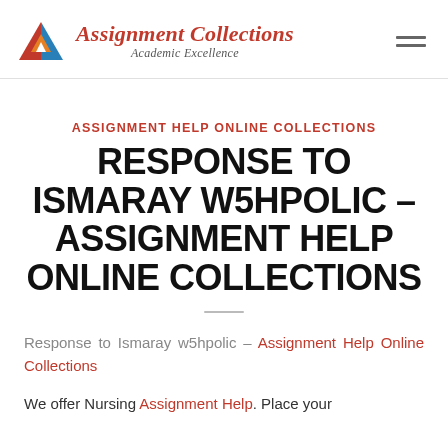Assignment Collections — Academic Excellence
ASSIGNMENT HELP ONLINE COLLECTIONS
RESPONSE TO ISMARAY W5HPOLIC – ASSIGNMENT HELP ONLINE COLLECTIONS
Response to Ismaray w5hpolic – Assignment Help Online Collections
We offer Nursing Assignment Help. Place your